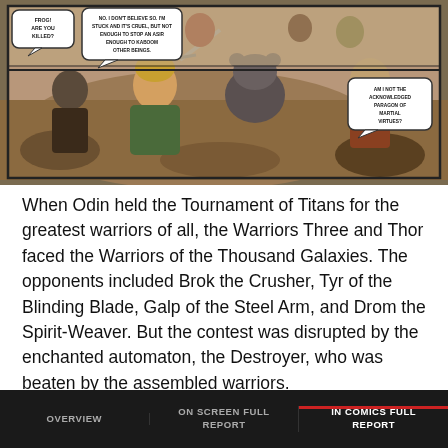[Figure (illustration): Comic book panel showing fantasy/Norse warriors including a blonde warrior holding weapons, a dark figure, a bear-like creature, and other characters. Speech bubbles with dialogue. Scene appears to be from a Warriors Three/Thor comic.]
When Odin held the Tournament of Titans for the greatest warriors of all, the Warriors Three and Thor faced the Warriors of the Thousand Galaxies. The opponents included Brok the Crusher, Tyr of the Blinding Blade, Galp of the Steel Arm, and Drom the Spirit-Weaver. But the contest was disrupted by the enchanted automaton, the Destroyer, who was beaten by the assembled warriors.

Three apples from the world-ash tree Yggdrasill; an
OVERVIEW | ON SCREEN FULL REPORT | IN COMICS FULL REPORT